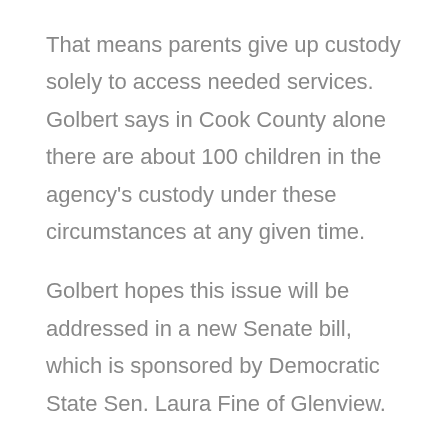That means parents give up custody solely to access needed services. Golbert says in Cook County alone there are about 100 children in the agency's custody under these circumstances at any given time.
Golbert hopes this issue will be addressed in a new Senate bill, which is sponsored by Democratic State Sen. Laura Fine of Glenview.
Fine says she worked with the Cook County Public Guardian's office to craft this legislation.
When parents have to relinquish custody of a child with a mental health issue, it “adds insult to injury, because the family wants to obviously keep custody of their child, but they also want to do what’s best for their child,” Fine says